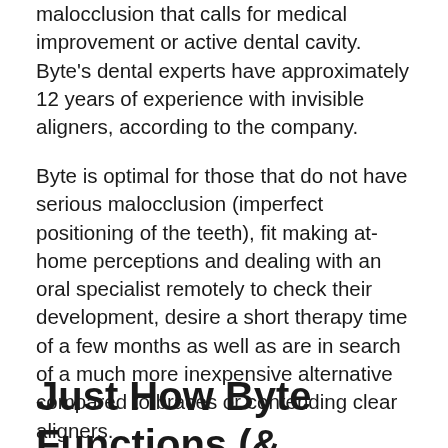malocclusion that calls for medical improvement or active dental cavity. Byte's dental experts have approximately 12 years of experience with invisible aligners, according to the company.
Byte is optimal for those that do not have serious malocclusion (imperfect positioning of the teeth), fit making at-home perceptions and dealing with an oral specialist remotely to check their development, desire a short therapy time of a few months as well as are in search of a much more inexpensive alternative compared to braces or contending clear aligners.
Just How Byte Functions (& Steps to...